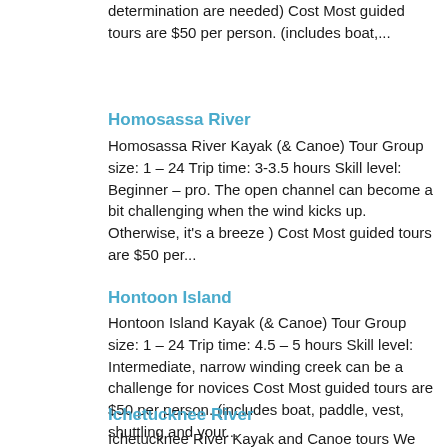determination are needed) Cost Most guided tours are $50 per person. (includes boat,...
Homosassa River
Homosassa River Kayak (& Canoe) Tour Group size: 1 – 24 Trip time: 3-3.5 hours Skill level: Beginner – pro. The open channel can become a bit challenging when the wind kicks up. Otherwise, it's a breeze ) Cost Most guided tours are $50 per...
Hontoon Island
Hontoon Island Kayak (& Canoe) Tour Group size: 1 – 24 Trip time: 4.5 – 5 hours Skill level: Intermediate, narrow winding creek can be a challenge for novices Cost Most guided tours are $50 per person. (includes boat, paddle, vest, shuttling and your...
Ichetucknee River
Ichetucknee River Kayak and Canoe tours We offer